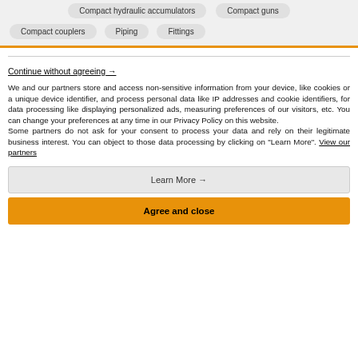Compact hydraulic accumulators
Compact guns
Compact couplers
Piping
Fittings
Continue without agreeing →
We and our partners store and access non-sensitive information from your device, like cookies or a unique device identifier, and process personal data like IP addresses and cookie identifiers, for data processing like displaying personalized ads, measuring preferences of our visitors, etc. You can change your preferences at any time in our Privacy Policy on this website.
Some partners do not ask for your consent to process your data and rely on their legitimate business interest. You can object to those data processing by clicking on "Learn More". View our partners
Learn More →
Agree and close